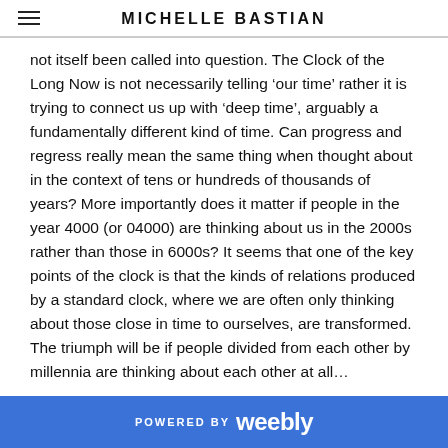MICHELLE BASTIAN
not itself been called into question. The Clock of the Long Now is not necessarily telling ‘our time’ rather it is trying to connect us up with ‘deep time’, arguably a fundamentally different kind of time. Can progress and regress really mean the same thing when thought about in the context of tens or hundreds of thousands of years? More importantly does it matter if people in the year 4000 (or 04000) are thinking about us in the 2000s rather than those in 6000s? It seems that one of the key points of the clock is that the kinds of relations produced by a standard clock, where we are often only thinking about those close in time to ourselves, are transformed. The triumph will be if people divided from each other by millennia are thinking about each other at all…
Reference
POWERED BY weebly